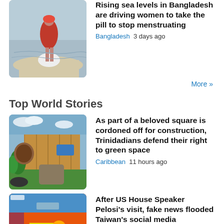[Figure (photo): Woman in colorful clothing walking on a sandy beach/shore near water]
Rising sea levels in Bangladesh are driving women to take the pill to stop menstruating
Bangladesh  3 days ago
More »
Top World Stories
[Figure (photo): A fenced construction area with green plants and a pathway, cordoned off in a square]
As part of a beloved square is cordoned off for construction, Trinidadians defend their right to green space
Caribbean  11 hours ago
[Figure (photo): Composite image with thermal/satellite imagery related to Taiwan and fake news coverage]
After US House Speaker Pelosi's visit, fake news flooded Taiwan's social media
East Asia  2 days ago